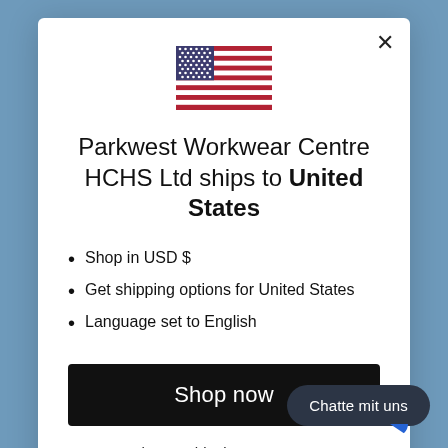[Figure (illustration): US flag emoji/icon centered at top of modal]
Parkwest Workwear Centre HCHS Ltd ships to United States
Shop in USD $
Get shipping options for United States
Language set to English
Shop now
Change shipping country an
Chatte mit uns